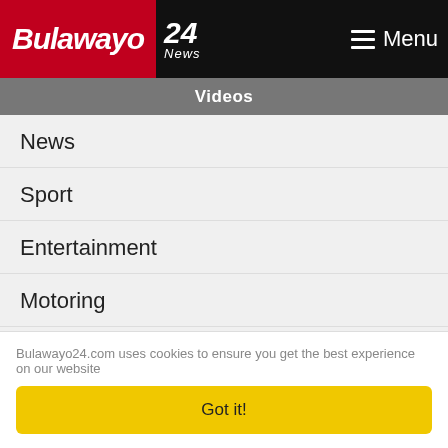Bulawayo 24 News — Menu
Videos
News
Sport
Entertainment
Motoring
Women
Food
Tourism
Health
Documentary
Bulawayo24.com uses cookies to ensure you get the best experience on our website
Got it!